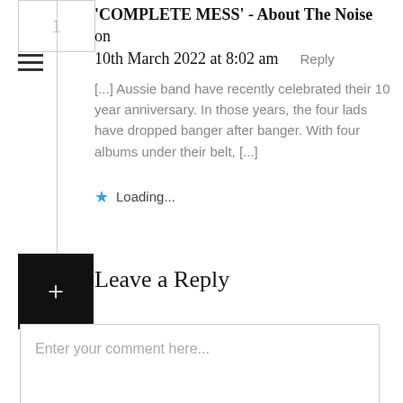'COMPLETE MESS' - About The Noise on 10th March 2022 at 8:02 am   Reply
[...] Aussie band have recently celebrated their 10 year anniversary. In those years, the four lads have dropped banger after banger. With four albums under their belt, [...]
Loading...
Leave a Reply
Enter your comment here...